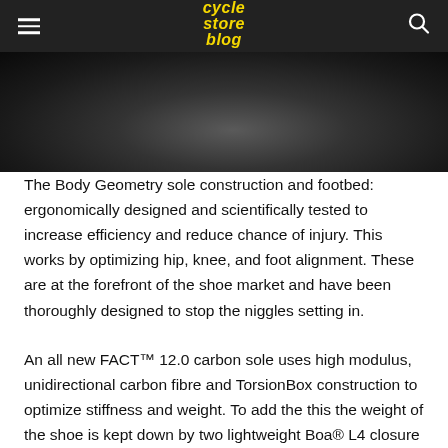cycle store blog
[Figure (photo): Close-up dark photo of a cycling shoe sole or footbed, dark background with blurred details]
The Body Geometry sole construction and footbed: ergonomically designed and scientifically tested to increase efficiency and reduce chance of injury. This works by optimizing hip, knee, and foot alignment. These are at the forefront of the shoe market and have been thoroughly designed to stop the niggles setting in.
An all new FACT™ 12.0 carbon sole uses high modulus, unidirectional carbon fibre and TorsionBox construction to optimize stiffness and weight. To add the this the weight of the shoe is kept down by two lightweight Boa® L4 closure system.